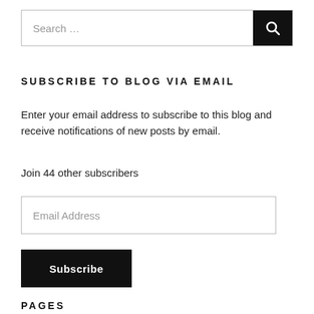Search …
SUBSCRIBE TO BLOG VIA EMAIL
Enter your email address to subscribe to this blog and receive notifications of new posts by email.
Join 44 other subscribers
Email Address
Subscribe
PAGES